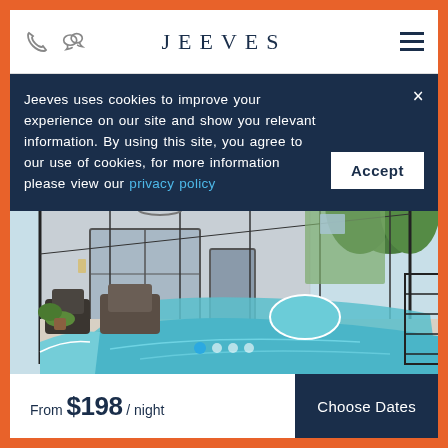JEEVES
Jeeves uses cookies to improve your experience on our site and show you relevant information. By using this site, you agree to our use of cookies, for more information please view our privacy policy
[Figure (photo): Outdoor pool with screened enclosure, hot tub, patio furniture, and house exterior. Clear blue pool water visible in foreground.]
From $198 / night
Choose Dates